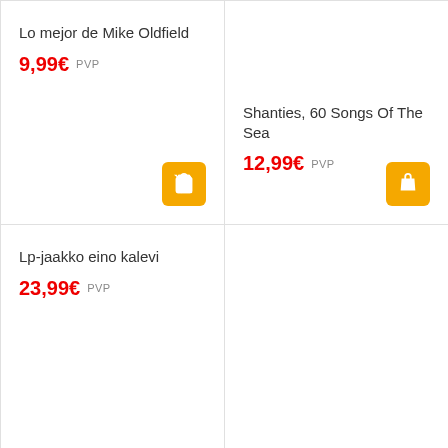Lo mejor de Mike Oldfield
9,99€ PVP
Shanties, 60 Songs Of The Sea
12,99€ PVP
Lp-jaakko eino kalevi
23,99€ PVP